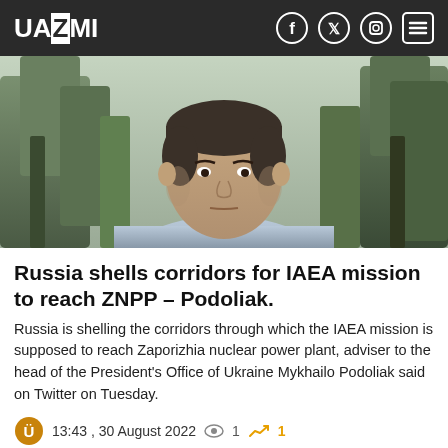UAZMI
[Figure (photo): Close-up photo of a middle-aged man with short dark hair wearing a light blue collared shirt, standing outdoors in front of trees with green/grey foliage in the background.]
Russia shells corridors for IAEA mission to reach ZNPP – Podoliak.
Russia is shelling the corridors through which the IAEA mission is supposed to reach Zaporizhia nuclear power plant, adviser to the head of the President's Office of Ukraine Mykhailo Podoliak said on Twitter on Tuesday.
13:43 , 30 August 2022  👁 1  📈 1